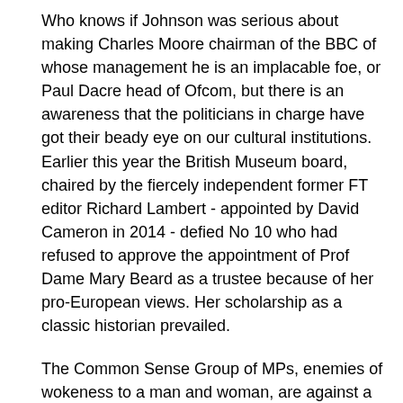Who knows if Johnson was serious about making Charles Moore chairman of the BBC of whose management he is an implacable foe, or Paul Dacre head of Ofcom, but there is an awareness that the politicians in charge have got their beady eye on our cultural institutions. Earlier this year the British Museum board, chaired by the fiercely independent former FT editor Richard Lambert - appointed by David Cameron in 2014 - defied No 10 who had refused to approve the appointment of Prof Dame Mary Beard as a trustee because of her pro-European views. Her scholarship as a classic historian prevailed.
The Common Sense Group of MPs, enemies of wokeness to a man and woman, are against a “rewriting of history” that proposes that everything that made Britain great is tainted according to new and unpatriotic attitudes, when the terrible truth is that it is tainted and we’ve only just got round to acknowledging it. Terrible things were perpetrated in the name of king/queen and country, and they still are. The appalling, some would say criminal, behaviour of the Home Office over Windrush has been uncovered, acknowledged but perpetuated. There is still no recognition of the Black Cultural Archive as a national resource; a central part of its campaign is to get the role of black and brown Britons written into the school curriculum, from which it is still absent while the glories